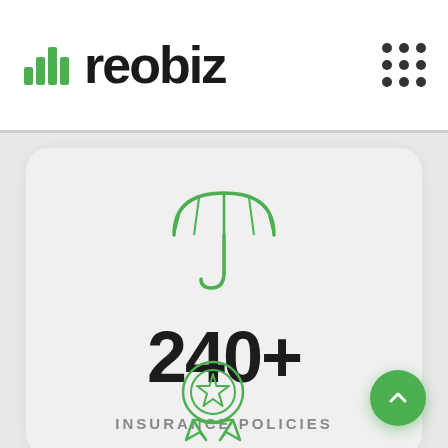reobiz
[Figure (illustration): Green outline umbrella icon]
240+
INSURANCE POLICIES
[Figure (illustration): Green outline award/badge/medal icon with star, partially visible at bottom]